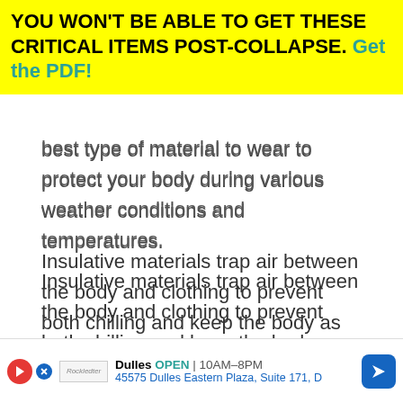YOU WON'T BE ABLE TO GET THESE CRITICAL ITEMS POST-COLLAPSE. Get the PDF!
best type of material to wear to protect your body during various weather conditions and temperatures.
Insulative materials trap air between the body and clothing to prevent both chilling and keep the body as warm as possible – without inducing sweating.
Before the invention of micro-fleece, when you purchased outerwear with lightweight insulation, it came...
[Figure (infographic): Advertisement bar: Dulles store, OPEN 10AM-8PM, 45575 Dulles Eastern Plaza, Suite 171, D. Shows a red play button, blue close button, store logo, and blue navigation arrow.]